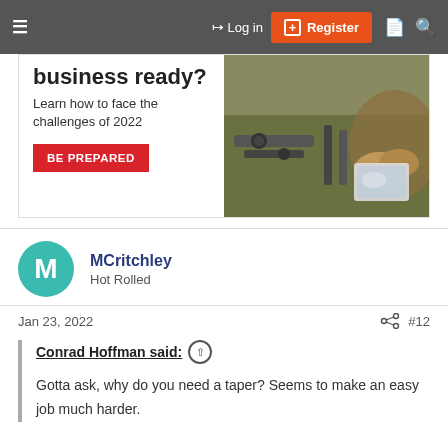Log in | Register
[Figure (screenshot): Advertisement banner: 'business ready? Learn how to face the challenges of 2022' with BE PREPARED button and industrial machinery photo]
MCritchley
Hot Rolled
Jan 23, 2022   #12
Conrad Hoffman said:
Gotta ask, why do you need a taper? Seems to make an easy job much harder.